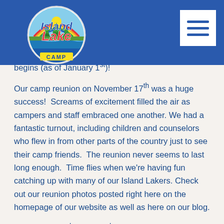[Figure (logo): Island Lake Camp logo — circular badge with pine trees, sun/rainbow arc, blue water, and 'Island Lake CAMP' text]
begins (as of January 1st)!
Our camp reunion on November 17th was a huge success!  Screams of excitement filled the air as campers and staff embraced one another. We had a fantastic turnout, including children and counselors who flew in from other parts of the country just to see their camp friends.  The reunion never seems to last long enough.  Time flies when we're having fun catching up with many of our Island Lakers. Check out our reunion photos posted right here on the homepage of our website as well as here on our blog.
We had our 2nd annual 3rd session TEEN...